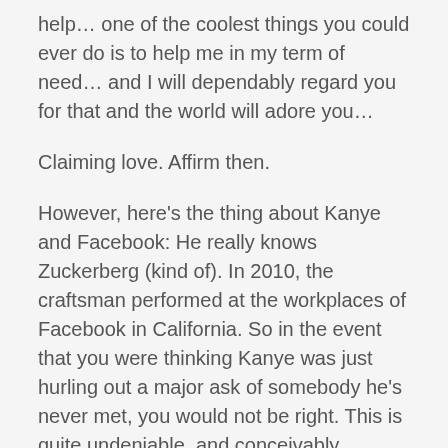help… one of the coolest things you could ever do is to help me in my term of need… and I will dependably regard you for that and the world will adore you…
Claiming love. Affirm then.
However, here's the thing about Kanye and Facebook: He really knows Zuckerberg (kind of). In 2010, the craftsman performed at the workplaces of Facebook in California. So in the event that you were thinking Kanye was just hurling out a major ask of somebody he's never met, you would not be right. This is quite undeniable, and conceivably extremely individual.
In any case, it doesn't end there. Kanye then includes Google fellow benefactor Larry Page to the blend in a progression of tweets coordinated at Silicon Valley by and large.